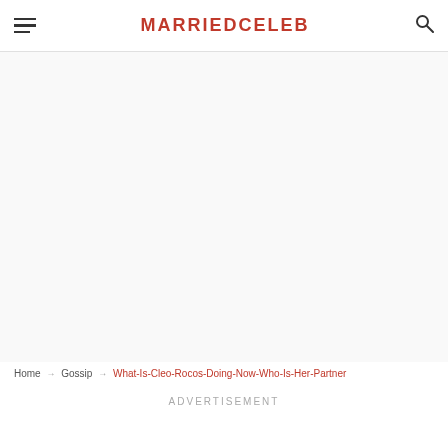MARRIEDCELEB
[Figure (other): Empty white/light gray content area placeholder]
Home → Gossip → What-Is-Cleo-Rocos-Doing-Now-Who-Is-Her-Partner
ADVERTISEMENT